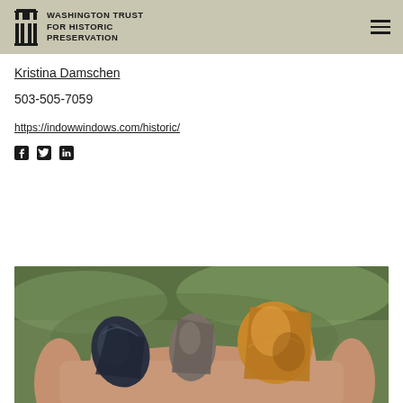WASHINGTON TRUST FOR HISTORIC PRESERVATION
Kristina Damschen
503-505-7059
https://indowwindows.com/historic/
[Figure (illustration): Social media icons: Facebook, Twitter, LinkedIn]
[Figure (photo): A hand holding several stone arrowheads or flint tools against a green background]